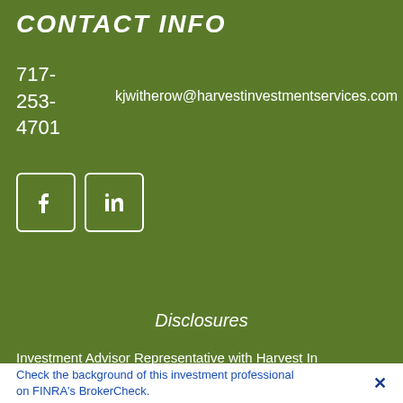CONTACT INFO
717-253-4701
kjwitherow@harvestinvestmentservices.com
[Figure (other): Facebook and LinkedIn social media icons (white icons in white-bordered rounded square boxes on green background)]
Disclosures
Investment Advisor Representative with Harvest In
Check the background of this investment professional on FINRA's BrokerCheck.